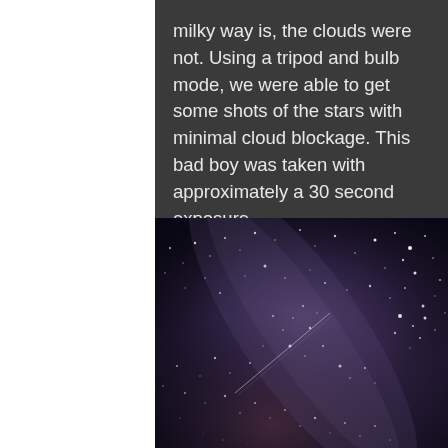milky way is, the clouds were not. Using a tripod and bulb mode, we were able to get some shots of the stars with minimal cloud blockage. This bad boy was taken with approximately a 30 second exposure.
[Figure (photo): Night sky photograph showing the Milky Way with stars and a faint diagonal streak, taken with a 30-second exposure. Deep purple and blue tones with scattered stars visible across the frame.]